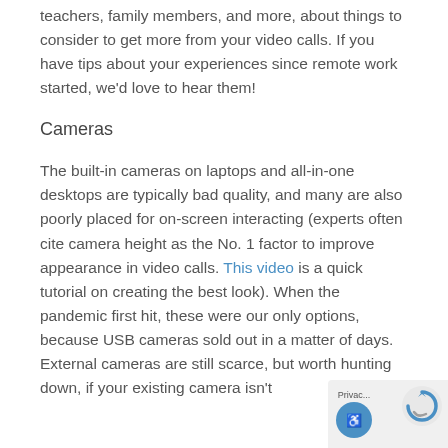teachers, family members, and more, about things to consider to get more from your video calls. If you have tips about your experiences since remote work started, we'd love to hear them!
Cameras
The built-in cameras on laptops and all-in-one desktops are typically bad quality, and many are also poorly placed for on-screen interacting (experts often cite camera height as the No. 1 factor to improve appearance in video calls. This video is a quick tutorial on creating the best look). When the pandemic first hit, these were our only options, because USB cameras sold out in a matter of days. External cameras are still scarce, but worth hunting down, if your existing camera isn't